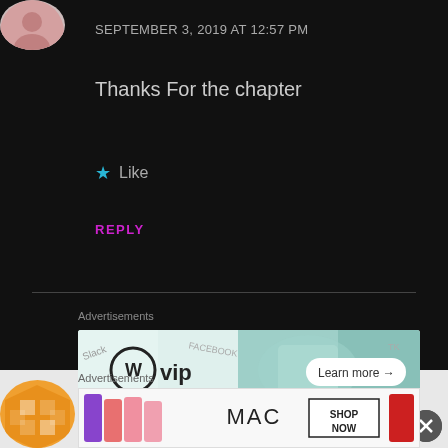SEPTEMBER 3, 2019 AT 12:57 PM
Thanks For the chapter
★ Like
REPLY
[Figure (other): WordPress VIP advertisement banner with 'Learn more →' button]
REPORT THIS AD
Advertisements
nckeo
[Figure (other): MAC cosmetics advertisement with lipsticks and 'SHOP NOW' button]
Advertisements